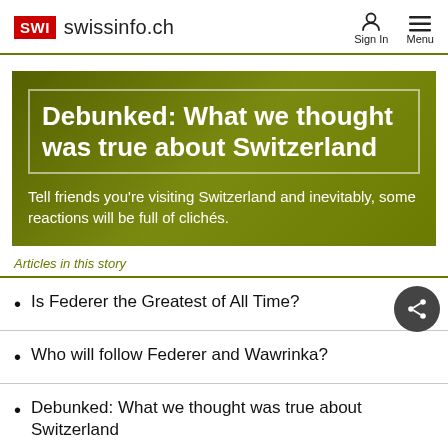SWI swissinfo.ch
Debunked: What we thought was true about Switzerland
Tell friends you're visiting Switzerland and inevitably, some reactions will be full of clichés.
Articles in this story
Is Federer the Greatest of All Time?
Who will follow Federer and Wawrinka?
Debunked: What we thought was true about Switzerland